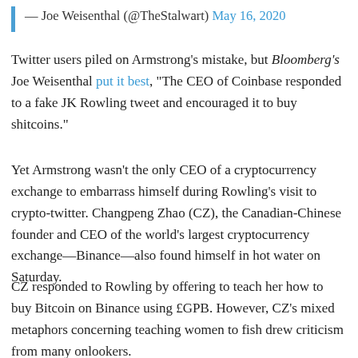— Joe Weisenthal (@TheStalwart) May 16, 2020
Twitter users piled on Armstrong's mistake, but Bloomberg's Joe Weisenthal put it best, "The CEO of Coinbase responded to a fake JK Rowling tweet and encouraged it to buy shitcoins."
Yet Armstrong wasn't the only CEO of a cryptocurrency exchange to embarrass himself during Rowling's visit to crypto-twitter. Changpeng Zhao (CZ), the Canadian-Chinese founder and CEO of the world's largest cryptocurrency exchange—Binance—also found himself in hot water on Saturday.
CZ responded to Rowling by offering to teach her how to buy Bitcoin on Binance using £GPB. However, CZ's mixed metaphors concerning teaching women to fish drew criticism from many onlookers.